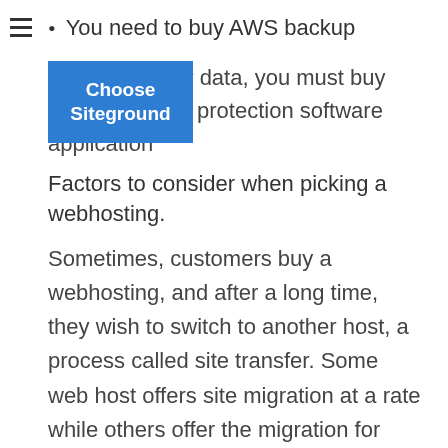You need to buy AWS backup
[Figure (other): Blue button overlay labeled 'Choose Siteground' overlapping a partially visible text block about buying data protection software application]
To protect your data, you must buy protection software application
Factors to consider when picking a webhosting.
Sometimes, customers buy a webhosting, and after a long time, they wish to switch to another host, a process called site transfer. Some web host offers site migration at a rate while others offer the migration for totally free. You must choose to go with HostGator or Greengeeks if you are in search of a complimentary transfer site. They are among the top web host service providers that use such services.